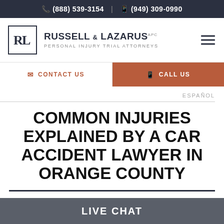(888) 539-3154 | (949) 309-0990
[Figure (logo): Russell & Lazarus APC Personal Injury Trial Attorneys logo with RL monogram in a square border]
CONTACT US
CALL US
ESPAÑOL
COMMON INJURIES EXPLAINED BY A CAR ACCIDENT LAWYER IN ORANGE COUNTY
LIVE CHAT